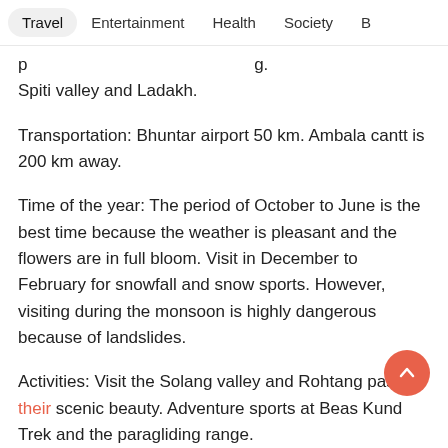Travel  Entertainment  Health  Society  B
...p [partial] ...g. Spiti valley and Ladakh.
Transportation: Bhuntar airport 50 km. Ambala cantt is 200 km away.
Time of the year: The period of October to June is the best time because the weather is pleasant and the flowers are in full bloom. Visit in December to February for snowfall and snow sports. However, visiting during the monsoon is highly dangerous because of landslides.
Activities: Visit the Solang valley and Rohtang pass for their scenic beauty. Adventure sports at Beas Kund Trek and the paragliding range.